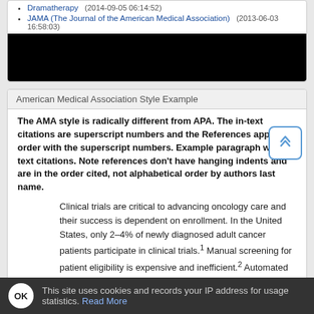Dramatherapy (2014-09-05 06:14:52)
JAMA (The Journal of the American Medical Association) (2013-06-03 16:58:03)
[Figure (other): Black redacted/blacked-out image area]
American Medical Association Style Example
The AMA style is radically different from APA. The in-text citations are superscript numbers and the References appear in order with the superscript numbers. Example paragraph with in-text citations. Note references don't have hanging indents and are in the order cited, not alphabetical order by authors last name.
Clinical trials are critical to advancing oncology care and their success is dependent on enrollment. In the United States, only 2–4% of newly diagnosed adult cancer patients participate in clinical trials.1 Manual screening for patient eligibility is expensive and inefficient.2 Automated systems to increase accrual to clinical trials
This site uses cookies and records your IP address for usage statistics. Read More  OK